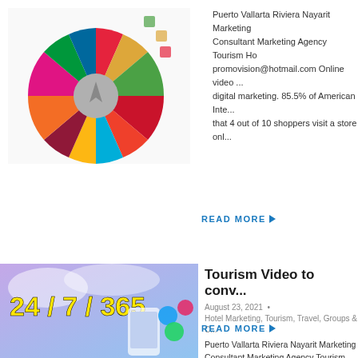[Figure (photo): SDG colorful wheel/pinwheel graphic]
Puerto Vallarta Riviera Nayarit Marketing Consultant Marketing Agency Tourism Ho... promovision@hotmail.com Online video ... digital marketing. 85.5% of American Inte... that 4 out of 10 shoppers visit a store onl...
READ MORE →
[Figure (photo): 24/7/365 text overlay on tourism video thumbnail with social media icons and phone]
Tourism Video to conv...
August 23, 2021 • Hotel Marketing, Tourism, Travel, Groups & C...
Puerto Vallarta Riviera Nayarit Marketing Consultant Marketing Agency Tourism Ho... promovision@hotmail.com Tourism Vide... to convey your message. The rise of mob... connect with on-the-go consumers. It is a...
READ MORE →
[Figure (photo): Tourism Foundational dark background image]
Tourism Foundationa...